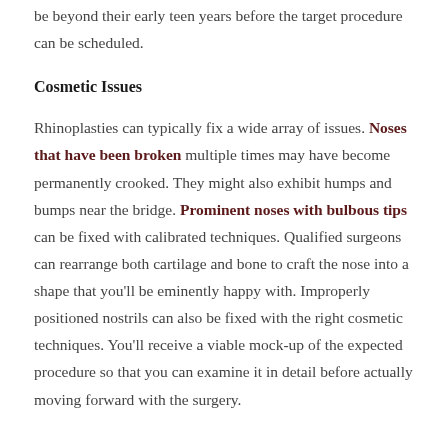be beyond their early teen years before the target procedure can be scheduled.
Cosmetic Issues
Rhinoplasties can typically fix a wide array of issues. Noses that have been broken multiple times may have become permanently crooked. They might also exhibit humps and bumps near the bridge. Prominent noses with bulbous tips can be fixed with calibrated techniques. Qualified surgeons can rearrange both cartilage and bone to craft the nose into a shape that you'll be eminently happy with. Improperly positioned nostrils can also be fixed with the right cosmetic techniques. You'll receive a viable mock-up of the expected procedure so that you can examine it in detail before actually moving forward with the surgery.